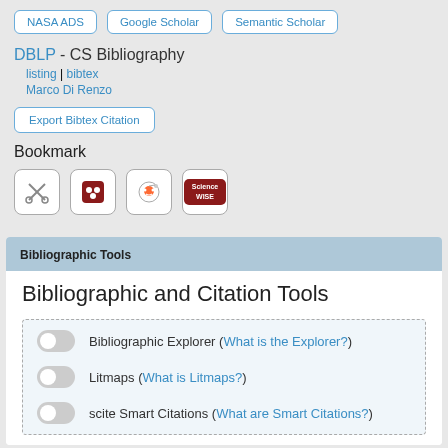NASA ADS | Google Scholar | Semantic Scholar
DBLP - CS Bibliography
listing | bibtex
Marco Di Renzo
Export Bibtex Citation
Bookmark
[Figure (other): Four bookmark icon buttons: scissors/tools icon, Mendeley icon, Reddit alien icon, ScienceWISE icon]
Bibliographic Tools
Bibliographic and Citation Tools
Bibliographic Explorer (What is the Explorer?)
Litmaps (What is Litmaps?)
scite Smart Citations (What are Smart Citations?)